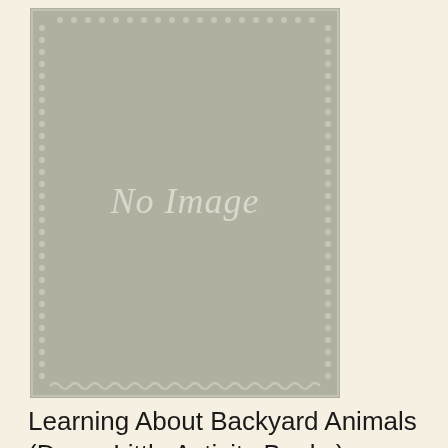[Figure (illustration): A placeholder book cover image with grey background, decorative border pattern, and italic text reading 'No Image' centered on the cover.]
Learning About Backyard Animals (Dover Little Activity Books)